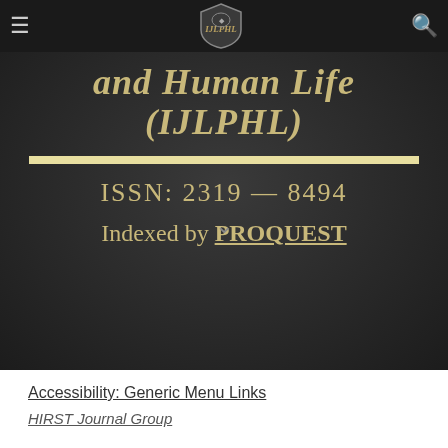Navigation bar with menu icon, IJLPHL shield logo, and search icon
and Human Life (IJLPHL)
ISSN: 2319 – 8494
Indexed by PROQUEST
Accessibility: Generic Menu Links
HIRST Journal Group